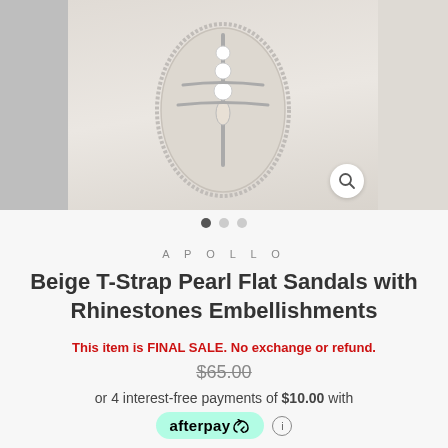[Figure (photo): Product photo of Beige T-Strap Pearl Flat Sandals displayed on white/cream background, showing pearl and rhinestone embellishments. Three-panel image with left and right strips partially visible.]
APOLLO
Beige T-Strap Pearl Flat Sandals with Rhinestones Embellishments
This item is FINAL SALE. No exchange or refund.
$65.00
or 4 interest-free payments of $10.00 with
[Figure (logo): Afterpay logo badge in mint green with recycling arrow icon]
$39.99
Shipping calculated at checkout.